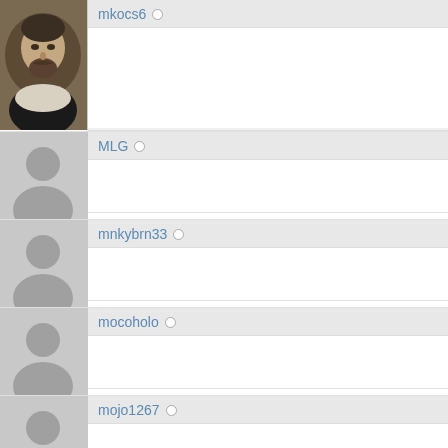mkocs6 ○
MLG ○
mnkybrn33 ○
mocoholo ○
mojo1267 ○
monchito ○
monkeyneck ○
monstersdad ○